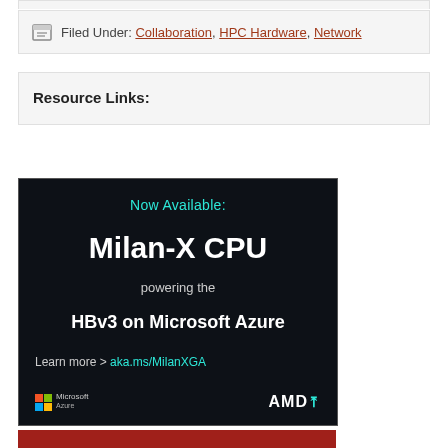Filed Under: Collaboration, HPC Hardware, Network
Resource Links:
[Figure (illustration): Advertisement banner for AMD Milan-X CPU powering the HBv3 on Microsoft Azure. Dark background with teal and white text. Features Microsoft Azure and AMD logos. Text reads: 'Now Available: Milan-X CPU powering the HBv3 on Microsoft Azure. Learn more > aka.ms/MilanXGA']
[Figure (illustration): Bottom strip - red/maroon colored partial banner at bottom of page]